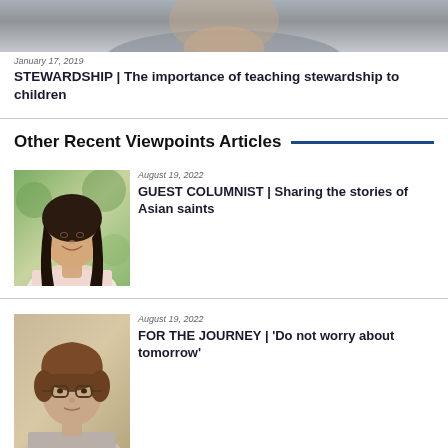[Figure (photo): Partial photo of a person wearing a grey shirt, cropped at top]
January 17, 2019
STEWARDSHIP | The importance of teaching stewardship to children
Other Recent Viewpoints Articles
[Figure (photo): Portrait photo of an Asian woman with long dark hair, smiling, outdoors]
August 19, 2022
GUEST COLUMNIST | Sharing the stories of Asian saints
[Figure (photo): Portrait photo of a woman with short brown hair and glasses]
August 19, 2022
FOR THE JOURNEY | 'Do not worry about tomorrow'